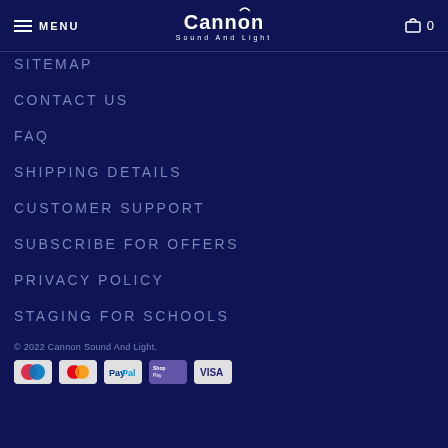MENU | Cannon Sound And Light | 0
SITEMAP
CONTACT US
FAQ
SHIPPING DETAILS
CUSTOMER SUPPORT
SUBSCRIBE FOR OFFERS
PRIVACY POLICY
STAGING FOR SCHOOLS
© 2022 Cannon Sound And Light.
[Figure (other): Payment method logos: Maestro, Mastercard, PayPal, Shopify Pay, and one more card]